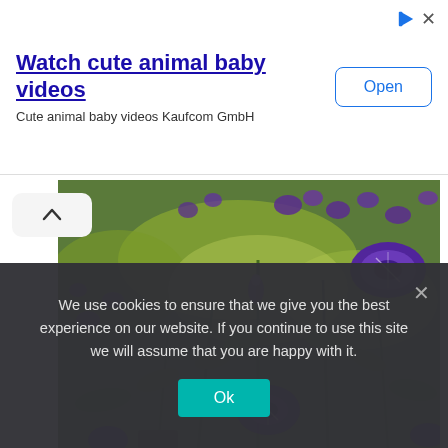[Figure (screenshot): Advertisement banner with 'Watch cute animal baby videos' title in blue underlined text, subtitle 'Cute animal baby videos Kaufcom GmbH', and an 'Open' button in blue outline. Ad icons (play and close X) in top right corner.]
[Figure (photo): Close-up photo of purple petunia flowers with green leafy plants in the background, set in a garden scene.]
We use cookies to ensure that we give you the best experience on our website. If you continue to use this site we will assume that you are happy with it.